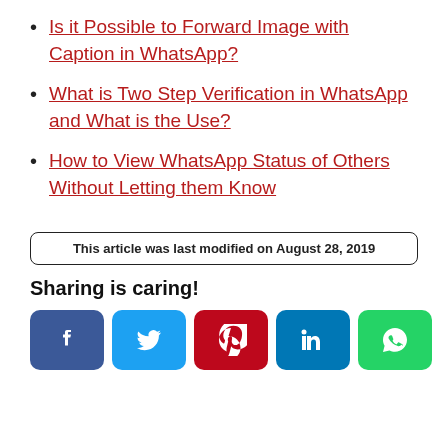Is it Possible to Forward Image with Caption in WhatsApp?
What is Two Step Verification in WhatsApp and What is the Use?
How to View WhatsApp Status of Others Without Letting them Know
This article was last modified on August 28, 2019
Sharing is caring!
[Figure (infographic): Social sharing buttons: Facebook, Twitter, Pinterest, LinkedIn, WhatsApp]